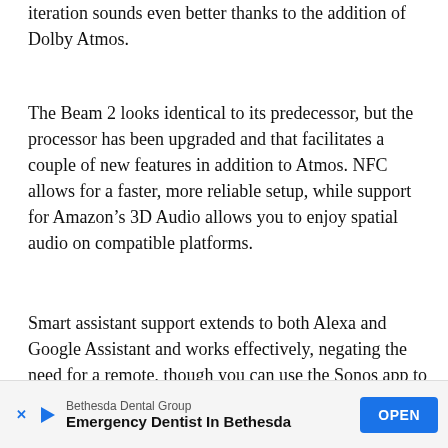iteration sounds even better thanks to the addition of Dolby Atmos.
The Beam 2 looks identical to its predecessor, but the processor has been upgraded and that facilitates a couple of new features in addition to Atmos. NFC allows for a faster, more reliable setup, while support for Amazon’s 3D Audio allows you to enjoy spatial audio on compatible platforms.
Smart assistant support extends to both Alexa and Google Assistant and works effectively, negating the need for a remote, though you can use the Sonos app to control the bar if necessary.
The Beam 2’s Achilles heel is that it has only one HDMI port and requires a TV with an eARC HDMI port to make use of Atmos. So those with older TVs will probably want to avo... strug... bar.
[Figure (other): Advertisement banner for Bethesda Dental Group - Emergency Dentist In Bethesda with OPEN button]